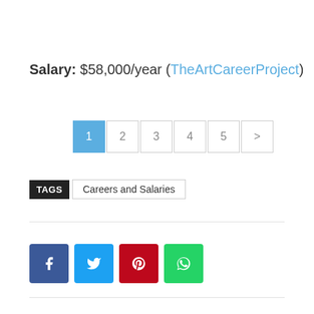Salary: $58,000/year (TheArtCareerProject)
[Figure (other): Pagination controls showing pages 1 (active/blue), 2, 3, 4, 5, and next arrow button]
TAGS   Careers and Salaries
[Figure (other): Social share buttons for Facebook, Twitter, Pinterest, and WhatsApp]